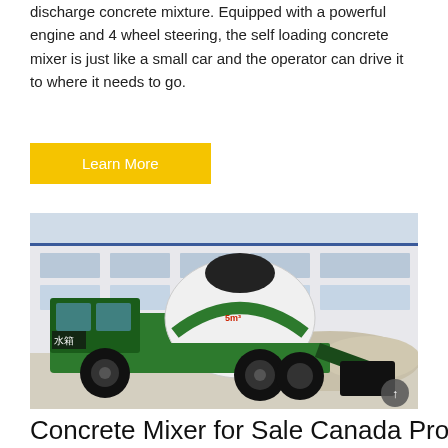discharge concrete mixture. Equipped with a powerful engine and 4 wheel steering, the self loading concrete mixer is just like a small car and the operator can drive it to where it needs to go.
Learn More
[Figure (photo): A green self-loading concrete mixer truck parked in front of a factory building with gravel piles behind it. The truck has a large white rotating drum with green and black accents, and Chinese text '水箱' visible on the side.]
Concrete Mixer for Sale Canada Provided